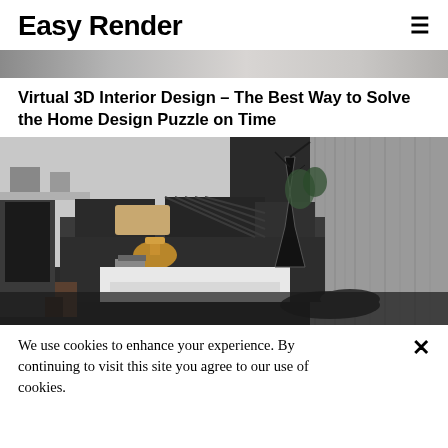Easy Render
[Figure (photo): Partial top strip of an interior design image — marble/grey tones]
Virtual 3D Interior Design – The Best Way to Solve the Home Design Puzzle on Time
[Figure (photo): 3D rendered interior design scene showing a modern living room with dark sofa, decorative pillows, a gold lamp, white coffee table, decorative vase, and grey curtains]
We use cookies to enhance your experience. By continuing to visit this site you agree to our use of cookies.